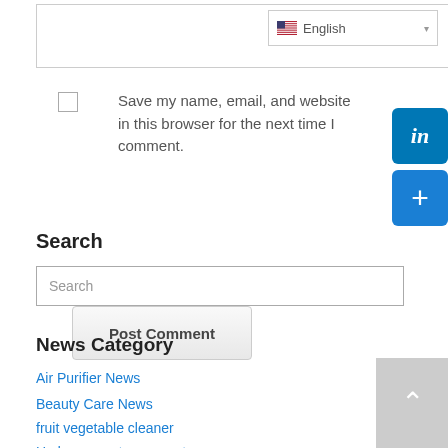[Figure (screenshot): Text input field with language selector dropdown showing English with US flag]
Save my name, email, and website in this browser for the next time I comment.
[Figure (screenshot): Post Comment button]
[Figure (logo): LinkedIn share button (blue with 'in' text)]
[Figure (logo): Blue plus button for social sharing]
Search
[Figure (screenshot): Search input field]
News Category
Air Purifier News
Beauty Care News
fruit vegetable cleaner
Hydrogen water generator news
[Figure (screenshot): Scroll to top button (grey with white up arrow)]